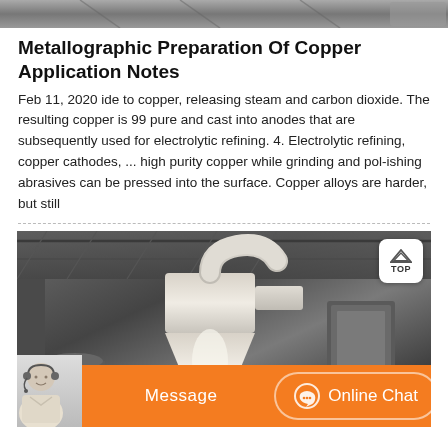[Figure (photo): Top strip showing partial photo of industrial equipment or machinery]
Metallographic Preparation Of Copper Application Notes
Feb 11, 2020 ide to copper, releasing steam and carbon dioxide. The resulting copper is 99 pure and cast into anodes that are subsequently used for electrolytic refining. 4. Electrolytic refining, copper cathodes, ... high purity copper while grinding and pol-ishing abrasives can be pressed into the surface. Copper alloys are harder, but still
[Figure (photo): Industrial facility interior showing a large conical dust collector or cyclone separator with pipes in a warehouse-like building with steel roof trusses. A TOP navigation badge is in the upper right corner of the photo.]
Message   Online Chat